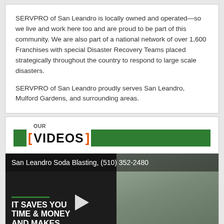SERVPRO of San Leandro is locally owned and operated—so we live and work here too and are proud to be part of this community. We are also part of a national network of over 1,600 Franchises with special Disaster Recovery Teams placed strategically throughout the country to respond to large scale disasters.
SERVPRO of San Leandro proudly serves San Leandro, Mulford Gardens, and surrounding areas.
OUR VIDEOS
[Figure (screenshot): Video thumbnail showing a man in black shirt with text 'IT SAVES YOU TIME & MONEY AND MAKES MOLD' overlaid on dark background. Video title: San Leandro Soda Blasting, (510) 352-2480. Play button visible.]